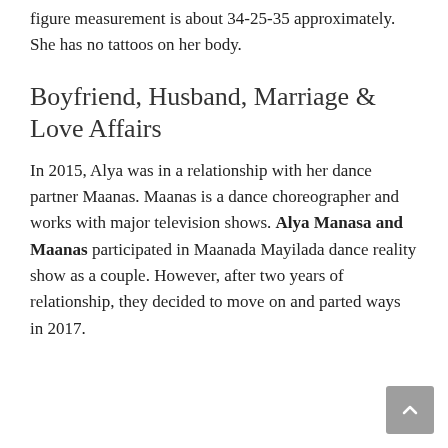figure measurement is about 34-25-35 approximately. She has no tattoos on her body.
Boyfriend, Husband, Marriage & Love Affairs
In 2015, Alya was in a relationship with her dance partner Maanas. Maanas is a dance choreographer and works with major television shows. Alya Manasa and Maanas participated in Maanada Mayilada dance reality show as a couple. However, after two years of relationship, they decided to move on and parted ways in 2017.